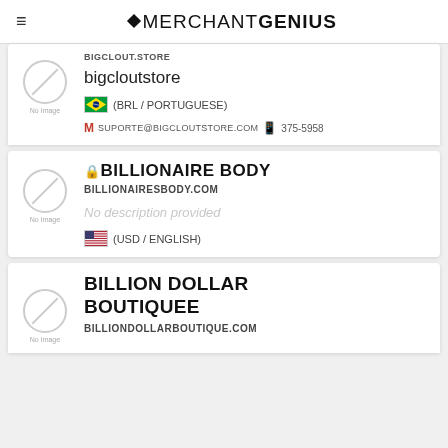MERCHANT GENIUS
BIGCLOUT.STORE
bigcloutstore
(BRL / PORTUGUESE)
SUPORTE@BIGCLOUTSTORE.COM   375-5958
🔒 BILLIONAIRE BODY
BILLIONAIRESBODY.COM
No description provided
(USD / ENGLISH)
BILLION DOLLAR BOUTIQUEE
BILLIONDOLLARBOUTIQUE.COM